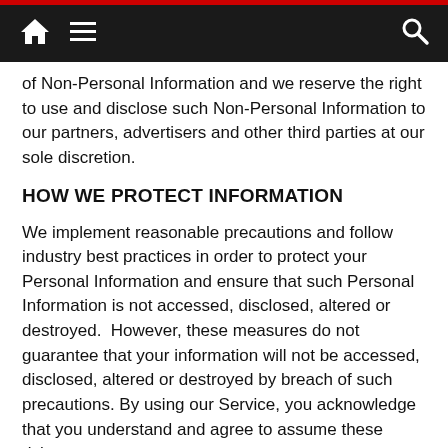Navigation bar with home, menu, and search icons
of Non-Personal Information and we reserve the right to use and disclose such Non-Personal Information to our partners, advertisers and other third parties at our sole discretion.
HOW WE PROTECT INFORMATION
We implement reasonable precautions and follow industry best practices in order to protect your Personal Information and ensure that such Personal Information is not accessed, disclosed, altered or destroyed.  However, these measures do not guarantee that your information will not be accessed, disclosed, altered or destroyed by breach of such precautions. By using our Service, you acknowledge that you understand and agree to assume these risks.
YOUR RIGHTS REGARDING THE USE OF YOUR PERSONAL INFORMATION